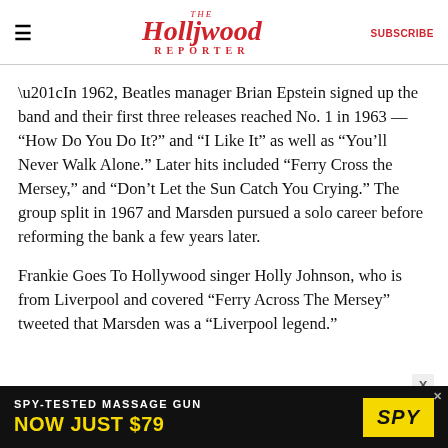The Hollywood Reporter | SUBSCRIBE
“In 1962, Beatles manager Brian Epstein signed up the band and their first three releases reached No. 1 in 1963 — “How Do You Do It?” and “I Like It” as well as “You’ll Never Walk Alone.” Later hits included “Ferry Cross the Mersey,” and “Don’t Let the Sun Catch You Crying.” The group split in 1967 and Marsden pursued a solo career before reforming the bank a few years later.
Frankie Goes To Hollywood singer Holly Johnson, who is from Liverpool and covered “Ferry Across The Mersey” tweeted that Marsden was a “Liverpool legend.”
[Figure (infographic): Advertisement banner: SPY-TESTED MASSAGE GUN NOW JUST $79 with SPY logo on yellow background]